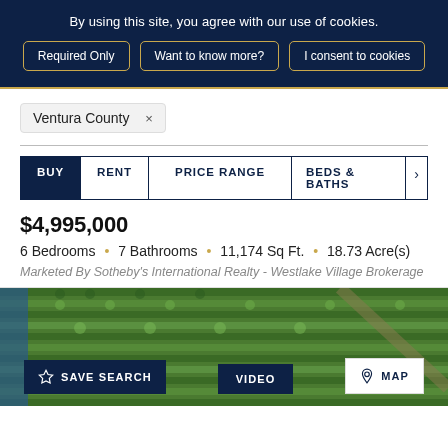By using this site, you agree with our use of cookies.
Required Only
Want to know more?
I consent to cookies
Ventura County ×
BUY   RENT   PRICE RANGE   BEDS & BATHS   ›
$4,995,000
6 Bedrooms • 7 Bathrooms • 11,174 Sq Ft. • 18.73 Acre(s)
Marketed By Sotheby's International Realty - Westlake Village Brokerage
[Figure (photo): Aerial view of an orchard or grove with rows of trees, showing green canopy from above. Blue pathway or irrigation channel visible at left edge.]
SAVE SEARCH
VIDEO
MAP